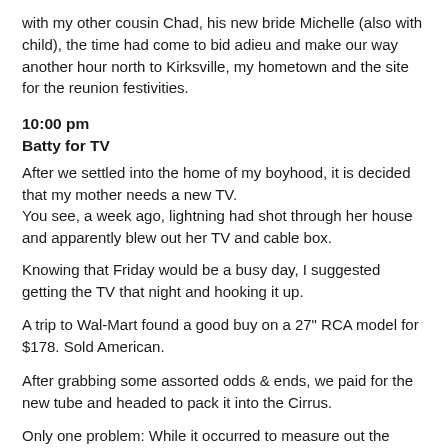with my other cousin Chad, his new bride Michelle (also with child), the time had come to bid adieu and make our way another hour north to Kirksville, my hometown and the site for the reunion festivities.
10:00 pm
Batty for TV
After we settled into the home of my boyhood, it is decided that my mother needs a new TV.
You see, a week ago, lightning had shot through her house and apparently blew out her TV and cable box.
Knowing that Friday would be a busy day, I suggested getting the TV that night and hooking it up.
A trip to Wal-Mart found a good buy on a 27" RCA model for $178. Sold American.
After grabbing some assorted odds & ends, we paid for the new tube and headed to pack it into the Cirrus.
Only one problem: While it occurred to measure out the